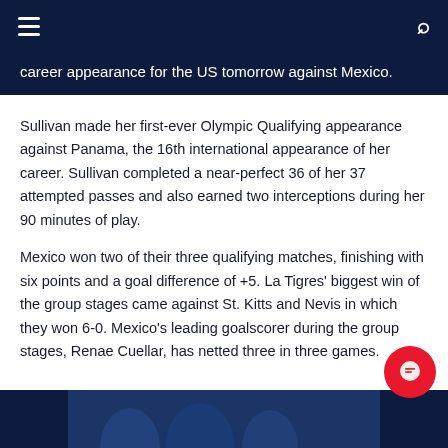≡  🔍
career appearance for the US tomorrow against Mexico.
Sullivan made her first-ever Olympic Qualifying appearance against Panama, the 16th international appearance of her career. Sullivan completed a near-perfect 36 of her 37 attempted passes and also earned two interceptions during her 90 minutes of play.
Mexico won two of their three qualifying matches, finishing with six points and a goal difference of +5. La Tigres' biggest win of the group stages came against St. Kitts and Nevis in which they won 6-0. Mexico's leading goalscorer during the group stages, Renae Cuellar, has netted three in three games.
[Figure (photo): Bottom portion of a sports photo showing players, partially visible, with dark blue and red background elements.]